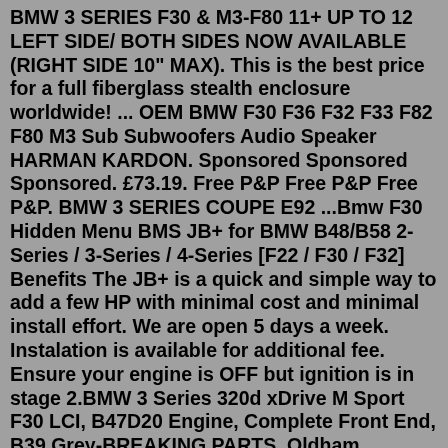BMW 3 SERIES F30 & M3-F80 11+ UP TO 12 LEFT SIDE/ BOTH SIDES NOW AVAILABLE (RIGHT SIDE 10" MAX). This is the best price for a full fiberglass stealth enclosure worldwide! ... OEM BMW F30 F36 F32 F33 F82 F80 M3 Sub Subwoofers Audio Speaker HARMAN KARDON. Sponsored Sponsored Sponsored. £73.19. Free P&P Free P&P Free P&P. BMW 3 SERIES COUPE E92 ...Bmw F30 Hidden Menu BMS JB+ for BMW B48/B58 2-Series / 3-Series / 4-Series [F22 / F30 / F32] Benefits The JB+ is a quick and simple way to add a few HP with minimal cost and minimal install effort. We are open 5 days a week. Instalation is available for additional fee. Ensure your engine is OFF but ignition is in stage 2.BMW 3 Series 320d xDrive M Sport F30 LCI, B47D20 Engine, Complete Front End, B39 Grey-BREAKING PARTS. Oldham, Manchester. BMW 3 Series 320d xDrive M Sport F30 LCI BREAKING FOR PARTS Please ring 0161 6338080 or 0161 6273483 for any parts enquiries. German Parts Specialists Unit 5 Webster Street Oldham OL8